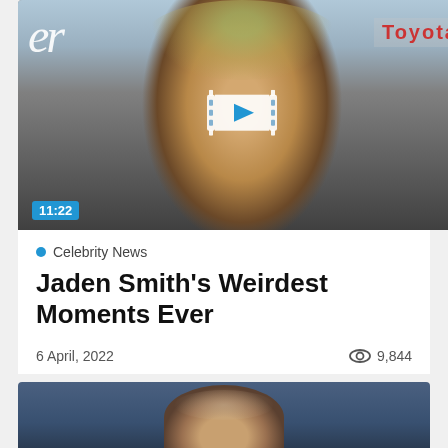[Figure (photo): Thumbnail of Jaden Smith with dyed green/yellow hair at what appears to be a celebrity event with logos in background. Video play button overlay and duration badge showing 11:22.]
Celebrity News
Jaden Smith's Weirdest Moments Ever
6 April, 2022
9,844
[Figure (photo): Partial thumbnail of another celebrity article below, showing top of a man's head against a blue background.]